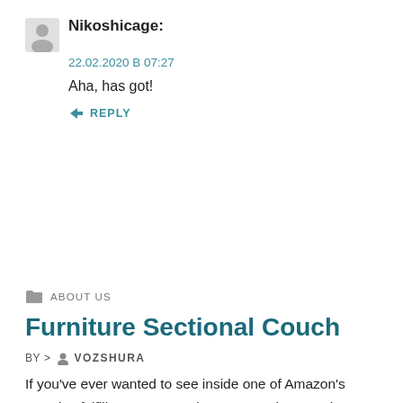Nikoshicage:
22.02.2020 В 07:27
Aha, has got!
↳ REPLY
ABOUT US
Furniture Sectional Couch
BY > VOZSHURA
If you've ever wanted to see inside one of Amazon's massive fulfillment centers, here's your chance. The FC Tours program is offering virtual tours around the. There are + Amazon Warehouse Locations across the world. We've compiled this list of Amazon's Fulfillment Centers and Facilities. Amazon fulfillment centers are open for public tours. Check out the locations and reserve your